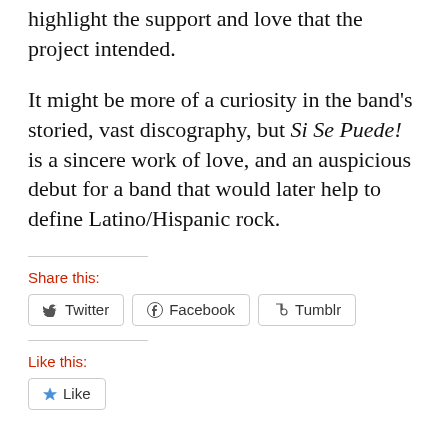highlight the support and love that the project intended.
It might be more of a curiosity in the band's storied, vast discography, but Si Se Puede! is a sincere work of love, and an auspicious debut for a band that would later help to define Latino/Hispanic rock.
Share this:
Twitter  Facebook  Tumblr
Like this:
Like